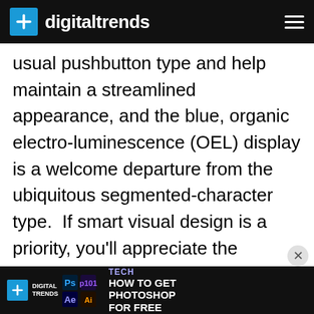digitaltrends
usual pushbutton type and help maintain a streamlined appearance, and the blue, organic electro-luminescence (OEL) display is a welcome departure from the ubiquitous segmented-character type.  If smart visual design is a priority, you'll appreciate the tastefully unique aesthetic.
Other items inside the box include a small remote control, a pair of AAA batteries,
[Figure (screenshot): Digital Trends advertisement banner with app icons (Photoshop, After Effects, etc.) and text 'TECH 101: HOW TO GET PHOTOSHOP FOR FREE']